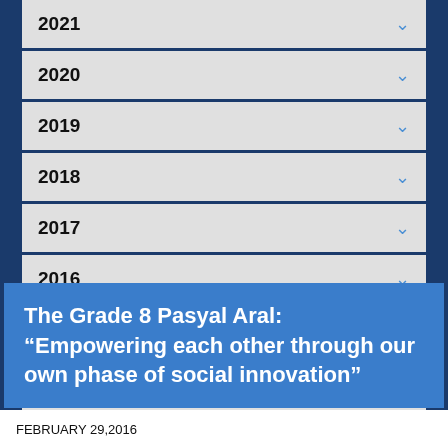2021
2020
2019
2018
2017
2016
2015
2014
2013
The Grade 8 Pasyal Aral: “Empowering each other through our own phase of social innovation”
FEBRUARY 29,2016